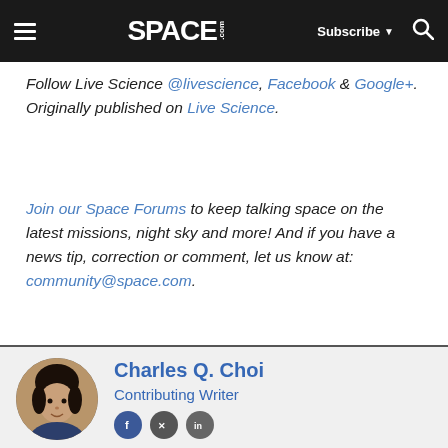SPACE.com — Subscribe | Search
Follow Live Science @livescience, Facebook & Google+. Originally published on Live Science.
Join our Space Forums to keep talking space on the latest missions, night sky and more! And if you have a news tip, correction or comment, let us know at: community@space.com.
[Figure (photo): Author headshot of Charles Q. Choi in a circular crop, showing a man with dark hair]
Charles Q. Choi
Contributing Writer